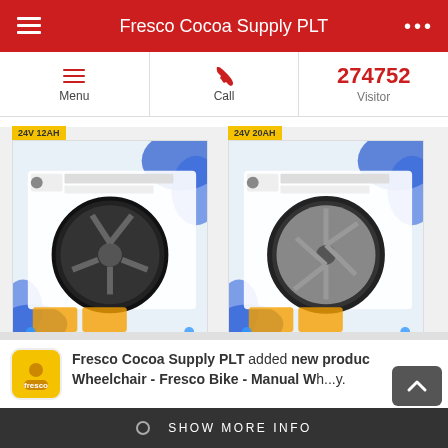Fresco Cocoa Supply PLT
Menu | Call | 274752 Visitor
[Figure (photo): Product image: electric wheelchair tire/wheel with label 24V 12AH, Presco Bike Accessories]
[Figure (photo): Product image: electric wheelchair tire/wheel with label 24V 20AH, Presco Bike Accessories]
Fresco Cocoa Supply PLT added new product Wheelchair - Fresco Bike - Manual Wh...y.
WhatsApp me if you're interested
May 18, 2022 at 12:05 pm.  306 Rea...
[Figure (photo): Fresco Sport Wheelchair ULTRA LIGHTWEIGHT 12KG LEISURE & SPORT WHEELCHAIR MANUAL. FRESCO Bike. READY Net Weight]
What are you looking for? Let us know what you need. Click here to get your free quote now!
SHOW MORE INFO